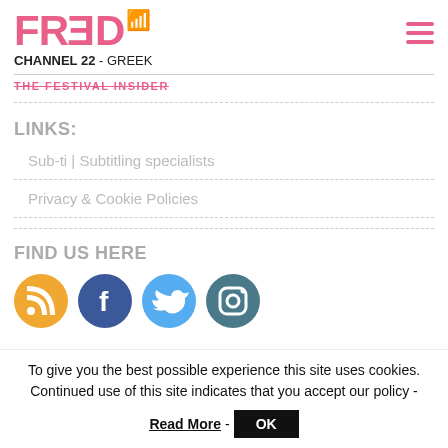FRED CHANNEL 22 - GREEK
THE FESTIVAL INSIDER
LINKS:
Sub-ti | Subtitling specialists
Privacy & Cookie Policies
FIND US HERE
[Figure (illustration): Four social media icons: RSS (orange), Facebook (dark blue), Twitter (light blue), Instagram (teal)]
To give you the best possible experience this site uses cookies. Continued use of this site indicates that you accept our policy - Read More - OK